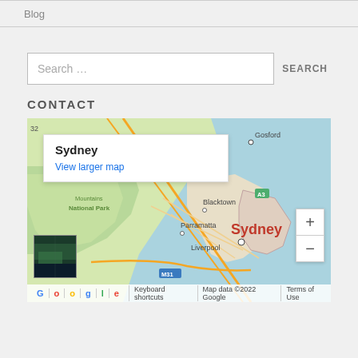Blog
Search …
SEARCH
CONTACT
[Figure (map): Google Map showing Sydney, Australia region including Gosford, Blacktown, Parramatta, Liverpool, Blue Mountains National Park, with zoom controls and satellite thumbnail. Map data ©2022 Google.]